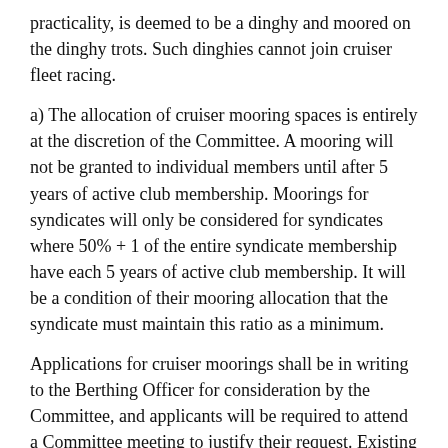practicality, is deemed to be a dinghy and moored on the dinghy trots. Such dinghies cannot join cruiser fleet racing.
a) The allocation of cruiser mooring spaces is entirely at the discretion of the Committee. A mooring will not be granted to individual members until after 5 years of active club membership. Moorings for syndicates will only be considered for syndicates where 50% + 1 of the entire syndicate membership have each 5 years of active club membership. It will be a condition of their mooring allocation that the syndicate must maintain this ratio as a minimum.
Applications for cruiser moorings shall be in writing to the Berthing Officer for consideration by the Committee, and applicants will be required to attend a Committee meeting to justify their request. Existing cruiser owners who wish to change their cruisers will also be required to follow the same process.
b) Members or syndicates allocated moorings shall lay and